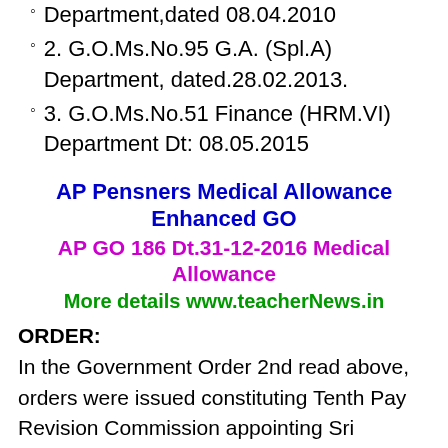Department,dated 08.04.2010
2. G.O.Ms.No.95 G.A. (Spl.A) Department, dated.28.02.2013.
3. G.O.Ms.No.51 Finance (HRM.VI) Department Dt: 08.05.2015
[Figure (infographic): AP Pensners Medical Allowance Enhanced GO banner with three lines: blue bold title, magenta subtitle 'AP GO 186 Dt.31-12-2016 Medical Allowance', and green 'More details www.teacherNews.in']
ORDER:
In the Government Order 2nd read above, orders were issued constituting Tenth Pay Revision Commission appointing Sri Pradeep Kumar Agarwal, IAS (Retd) as Pay Revision Commissioner laying down the terms of